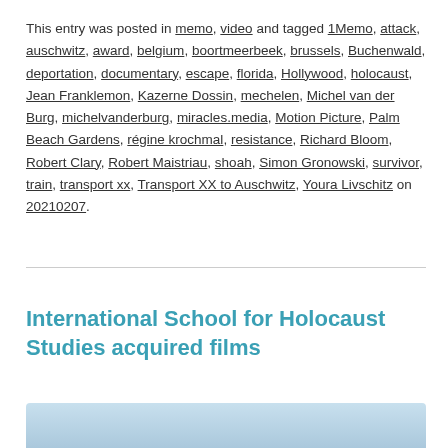This entry was posted in memo, video and tagged 1Memo, attack, auschwitz, award, belgium, boortmeerbeek, brussels, Buchenwald, deportation, documentary, escape, florida, Hollywood, holocaust, Jean Franklemon, Kazerne Dossin, mechelen, Michel van der Burg, michelvanderburg, miracles.media, Motion Picture, Palm Beach Gardens, régine krochmal, resistance, Richard Bloom, Robert Clary, Robert Maistriau, shoah, Simon Gronowski, survivor, train, transport xx, Transport XX to Auschwitz, Youra Livschitz on 20210207.
International School for Holocaust Studies acquired films
[Figure (photo): Partial photo at bottom of page, showing trees and sky with light blue background]